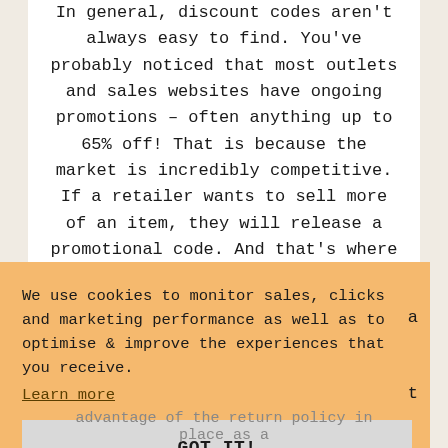In general, discount codes aren't always easy to find. You've probably noticed that most outlets and sales websites have ongoing promotions – often anything up to 65% off! That is because the market is incredibly competitive. If a retailer wants to sell more of an item, they will release a promotional code. And that's where we come in — we
We use cookies to monitor sales, clicks and marketing performance as well as to optimise & improve the experiences that you receive.
Learn more
GOT IT!
advantage of the return policy in place as a